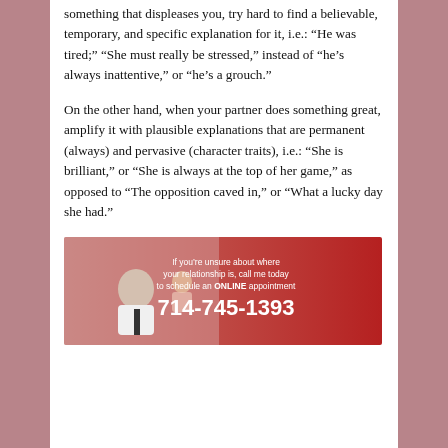something that displeases you, try hard to find a believable, temporary, and specific explanation for it, i.e.: “He was tired;” “She must really be stressed,” instead of “he’s always inattentive,” or “he’s a grouch.”
On the other hand, when your partner does something great, amplify it with plausible explanations that are permanent (always) and pervasive (character traits), i.e.: “She is brilliant,” or “She is always at the top of her game,” as opposed to “The opposition caved in,” or “What a lucky day she had.”
[Figure (infographic): Advertisement banner with a couple in conflict (older man in white shirt with head down, woman in background). Red gradient background on the right with white text: 'If you're unsure about where your relationship is, call me today to schedule an ONLINE appointment' and phone number 714-745-1393.]